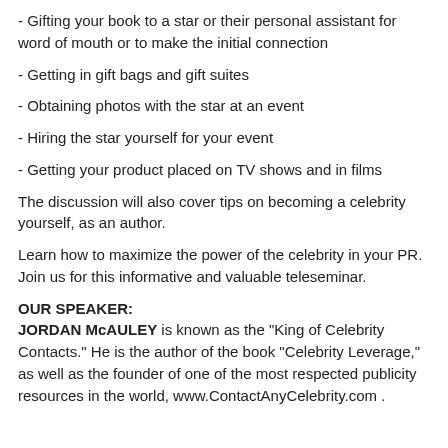- Gifting your book to a star or their personal assistant for word of mouth or to make the initial connection
- Getting in gift bags and gift suites
- Obtaining photos with the star at an event
- Hiring the star yourself for your event
- Getting your product placed on TV shows and in films
The discussion will also cover tips on becoming a celebrity yourself, as an author.
Learn how to maximize the power of the celebrity in your PR. Join us for this informative and valuable teleseminar.
OUR SPEAKER:
JORDAN McAULEY is known as the "King of Celebrity Contacts." He is the author of the book "Celebrity Leverage," as well as the founder of one of the most respected publicity resources in the world, www.ContactAnyCelebrity.com .